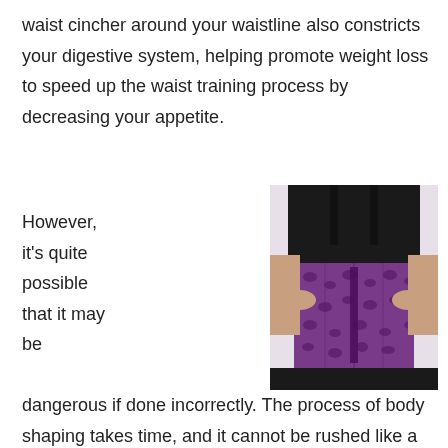waist cincher around your waistline also constricts your digestive system, helping promote weight loss to speed up the waist training process by decreasing your appetite.
[Figure (photo): A person wearing a purple and black leopard print waist cincher/corset, shown from chest to hips, with hands gripping the sides of the cincher.]
However, it's quite possible that it may be dangerous if done incorrectly. The process of body shaping takes time, and it cannot be rushed like a